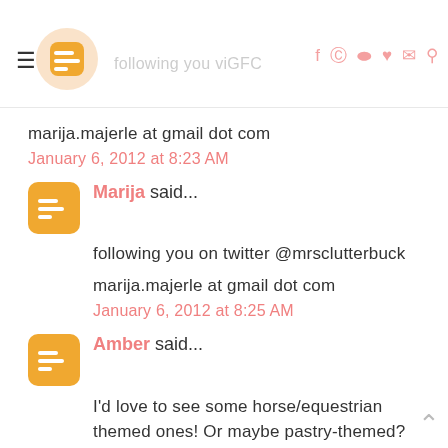following you vi... [navigation icons]
marija.majerle at gmail dot com
January 6, 2012 at 8:23 AM
Marija said...
following you on twitter @mrsclutterbuck
marija.majerle at gmail dot com
January 6, 2012 at 8:25 AM
Amber said...
I'd love to see some horse/equestrian themed ones! Or maybe pastry-themed? Thank you for the giveaway :)
hurdler4eva(at)gmail(dot)com